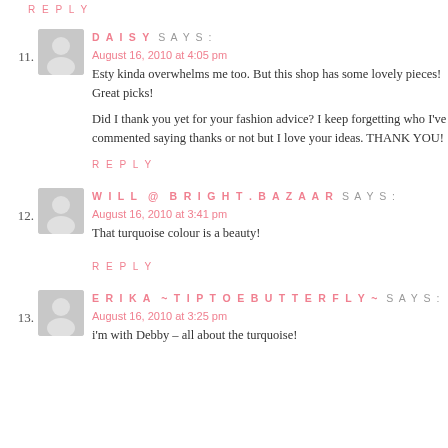REPLY
11. DAISY SAYS:
August 16, 2010 at 4:05 pm
Esty kinda overwhelms me too. But this shop has some lovely pieces! Great picks!
Did I thank you yet for your fashion advice? I keep forgetting who I've commented saying thanks or not but I love your ideas. THANK YOU!
REPLY
12. WILL @ BRIGHT.BAZAAR SAYS:
August 16, 2010 at 3:41 pm
That turquoise colour is a beauty!
REPLY
13. ERIKA ~TIPTOEBUTTERFLY~ SAYS:
August 16, 2010 at 3:25 pm
i'm with Debby – all about the turquoise!